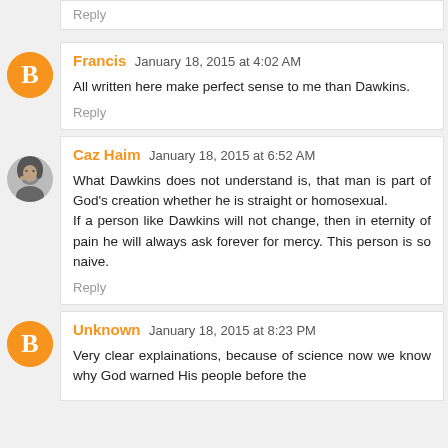Reply
Francis January 18, 2015 at 4:02 AM
All written here make perfect sense to me than Dawkins.
Reply
Caz Haim January 18, 2015 at 6:52 AM
What Dawkins does not understand is, that man is part of God's creation whether he is straight or homosexual.
If a person like Dawkins will not change, then in eternity of pain he will always ask forever for mercy. This person is so naive.
Reply
Unknown January 18, 2015 at 8:23 PM
Very clear explainations, because of science now we know why God warned His people before the